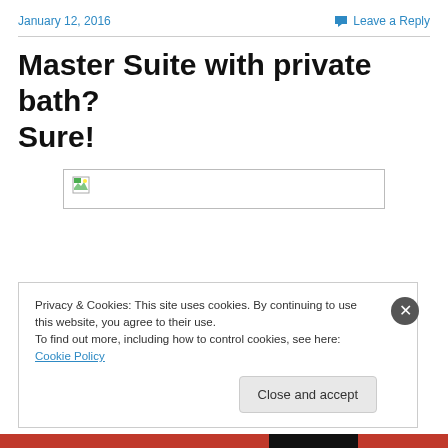January 12, 2016   Leave a Reply
Master Suite with private bath? Sure!
[Figure (photo): Broken/placeholder image thumbnail with small image icon at left, wide empty white rectangle with border]
Privacy & Cookies: This site uses cookies. By continuing to use this website, you agree to their use.
To find out more, including how to control cookies, see here: Cookie Policy
Close and accept